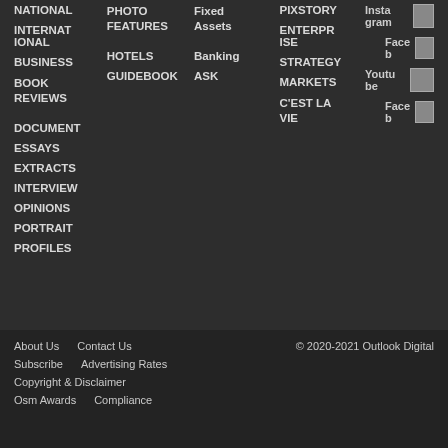NATIONAL
INTERNATIONAL
BUSINESS
BOOK REVIEWS
DOCUMENTS
ESSAYS
EXTRACTS
INTERVIEWS
OPINIONS
PORTRAITS
PROFILES
PHOTO FEATURES
HOTELS
GUIDEBOOK
Fixed Assets
Banking
ASK
PIXSTORY
ENTERPRISE
STRATEGY
MARKETS
C'EST LA VIE
Instagram
Facebook
Youtube
Facebook
About Us   Contact Us   © 2020-2021 Outlook Digital
Subscribe   Advertising Rates
Copyright & Disclaimer
Osm Awards   Compliance